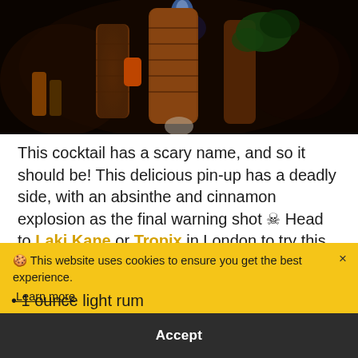[Figure (photo): Dark tiki bar photo showing decorated tiki mugs/cups with a blue flame on top, orange and green garnishes, against a dark background]
This cocktail has a scary name, and so it should be! This delicious pin-up has a deadly side, with an absinthe and cinnamon explosion as the final warning shot ☠ Head to Laki Kane or Tropix in London to try this tropical concoction – hopefully you'll still have your eyebrows
🍪 This website uses cookies to ensure you get the best experience. Learn more
Accept
1 ounce light rum